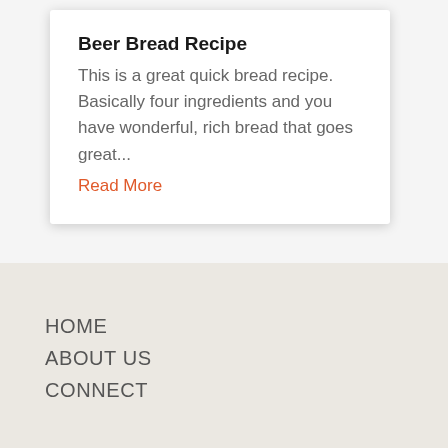Beer Bread Recipe
This is a great quick bread recipe.  Basically four ingredients and you have wonderful, rich bread that goes great...
Read More
HOME
ABOUT US
CONNECT